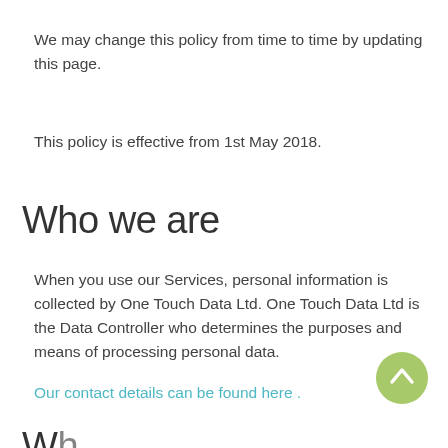We may change this policy from time to time by updating this page.
This policy is effective from 1st May 2018.
Who we are
When you use our Services, personal information is collected by One Touch Data Ltd. One Touch Data Ltd is the Data Controller who determines the purposes and means of processing personal data.
Our contact details can be found here .